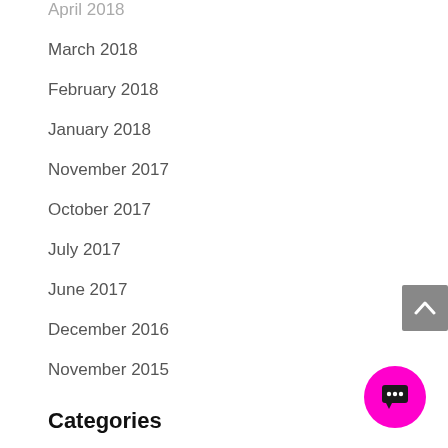April 2018
March 2018
February 2018
January 2018
November 2017
October 2017
July 2017
June 2017
December 2016
November 2015
Categories
All Posts
BioPharma Marketing
Controlled Release
Customized Event Advice